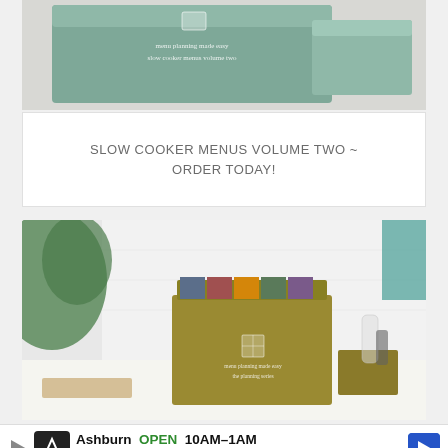[Figure (photo): A teal/sage green product box labeled 'menu planning made easy slow cooker menus volume two' on a white surface]
SLOW COOKER MENUS VOLUME TWO ~ ORDER TODAY!
[Figure (photo): An olive/gold colored product box labeled 'menu planning made easy' with colorful recipe cards visible on top, placed on a white kitchen counter with a plant and glass containers in the background]
Ashburn OPEN 10AM-1AM 20356 Commonwealth Ce...